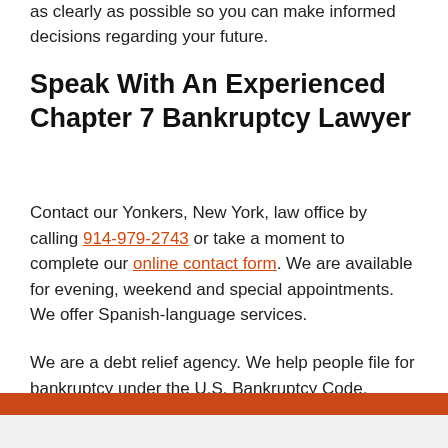as clearly as possible so you can make informed decisions regarding your future.
Speak With An Experienced Chapter 7 Bankruptcy Lawyer
Contact our Yonkers, New York, law office by calling 914-979-2743 or take a moment to complete our online contact form. We are available for evening, weekend and special appointments. We offer Spanish-language services.
We are a debt relief agency. We help people file for bankruptcy under the U.S. Bankruptcy Code.
Practice Areas